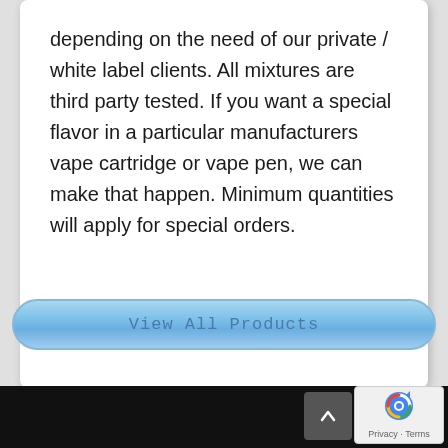depending on the need of our private / white label clients. All mixtures are third party tested. If you want a special flavor in a particular manufacturers vape cartridge or vape pen, we can make that happen. Minimum quantities will apply for special orders.
[Figure (other): Blue pill-shaped button with text 'View All Products']
Privacy · Terms